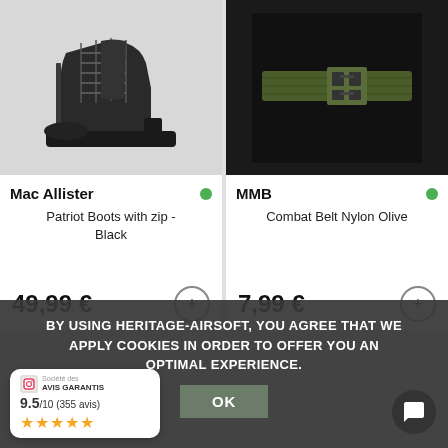[Figure (photo): Black lace-up combat boot with zipper side and chunky sole, photographed against white background]
Mac Allister
Patriot Boots with zip - Black
49,99 €
[Figure (photo): Olive green nylon combat belt with plastic buckle, worn on black mannequin]
MMB
Combat Belt Nylon Olive
7,99 €
BY USING HERITAGE-AIRSOFT, YOU AGREE THAT WE APPLY COOKIES IN ORDER TO OFFER YOU AN OPTIMAL EXPERIENCE.
OK
Société des
AVIS GARANTIS
9.5/10 (355 avis)